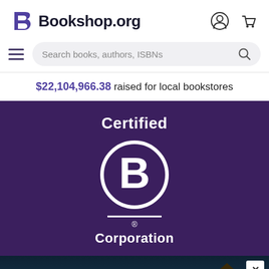[Figure (logo): Bookshop.org logo with stylized B letter mark in purple and bold text 'Bookshop.org']
[Figure (screenshot): Search bar with hamburger menu, search placeholder text 'Search books, authors, ISBNs', and magnifying glass icon]
$22,104,966.38 raised for local bookstores
[Figure (logo): Certified B Corporation logo on dark purple background — white circle with B inside, horizontal line, 'Certified' text above and 'Corporation' text below]
[Figure (illustration): Advertisement banner with dark background showing quote: "Alice Feeney is great with TWISTS AND TURNS." — HARLAN COBEN, with close X button]